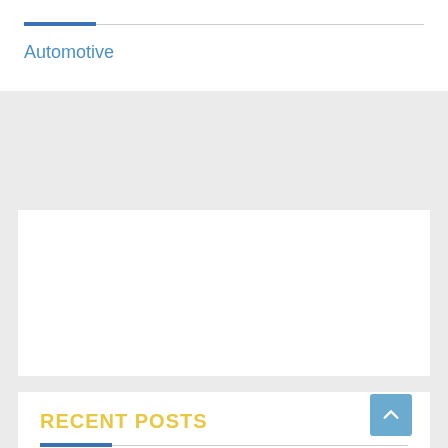Automotive
[Figure (other): Empty white card / advertisement placeholder]
RECENT POSTS
Xybix Exercise Treadmill Workstations, Worker Health Desks